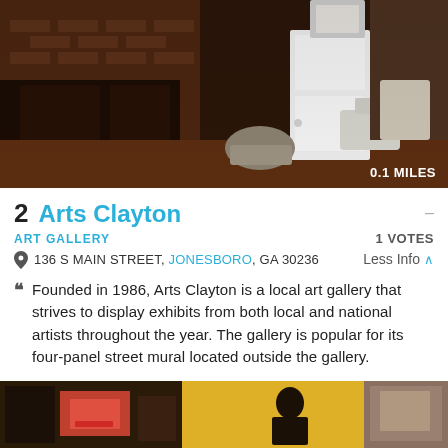[Figure (photo): Interior photo of an art gallery with brick walls, wooden floors, and white sculptural elements near a white door. Distance badge reads 0.1 MILES.]
2  Arts Clayton
ART GALLERY   1 VOTES
136 S MAIN STREET, JONESBORO, GA 30236   Less Info
Founded in 1986, Arts Clayton is a local art gallery that strives to display exhibits from both local and national artists throughout the year. The gallery is popular for its four-panel street mural located outside the gallery.
[Figure (photo): Partial view of a bottom strip of photos showing art gallery interior scenes.]